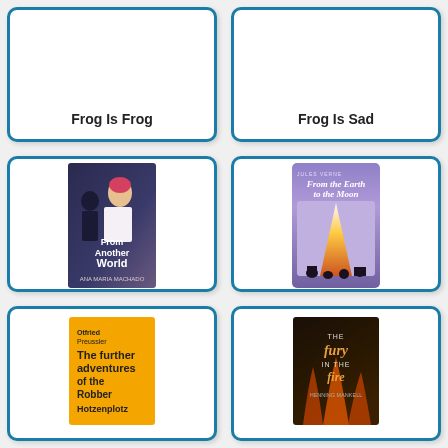[Figure (illustration): Book card showing title 'Frog Is Frog' (top portion visible, partially cut off)]
[Figure (illustration): Book card showing title 'Frog Is Sad' (top portion visible, partially cut off)]
[Figure (illustration): Book card with cover image of 'From Another World' by Ana Maria Machado]
From Another World
[Figure (illustration): Book card with cover image of 'From the Earth to the Moon' by Jules Verne]
From the Earth to the Moon
[Figure (illustration): Book card with cover image of 'The Further Adventures of the Robber Hotzenplotz' by Otfried Preussler (partially visible)]
[Figure (illustration): Book card with cover image of 'The Fury in the Fire' by Henning Mankell (partially visible)]